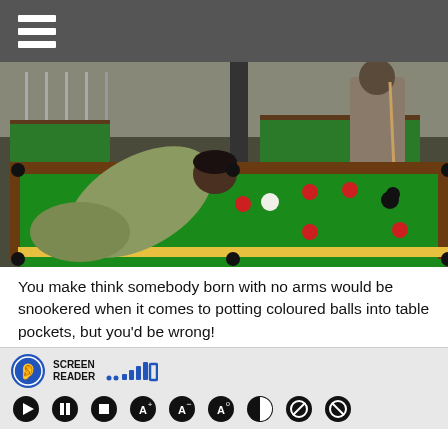[Figure (photo): A person without arms leaning over a green snooker table, playing snooker using their mouth/chin to strike the cue ball. Several red balls and a black ball are visible on the table. Another person stands in the background.]
You make think somebody born with no arms would be snookered when it comes to potting coloured balls into table pockets, but you'd be wrong!
[Figure (screenshot): Screen reader toolbar showing a circular logo with an ear and WiFi symbol, the words SCREEN READER, signal bar icons, and a rectangle icon, followed by playback control buttons (play, pause, stop) and accessibility/text buttons.]